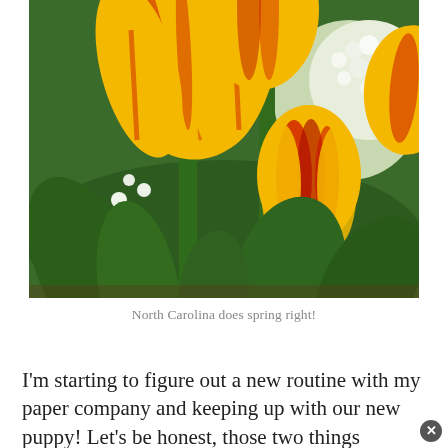[Figure (photo): Close-up photograph of yellow and red tulips in bloom with white flowers and green leaves in the background, taken in North Carolina]
North Carolina does spring right!
I'm starting to figure out a new routine with my paper company and keeping up with our new puppy! Let's be honest, those two things